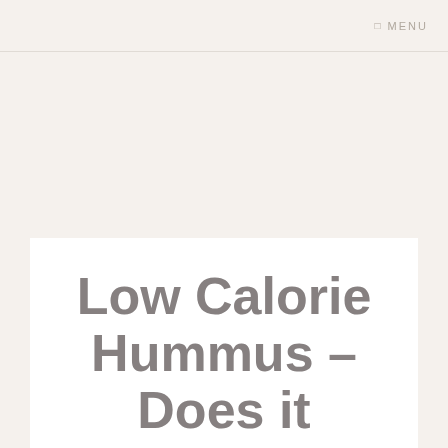☰ MENU
Low Calorie Hummus – Does it Matter?